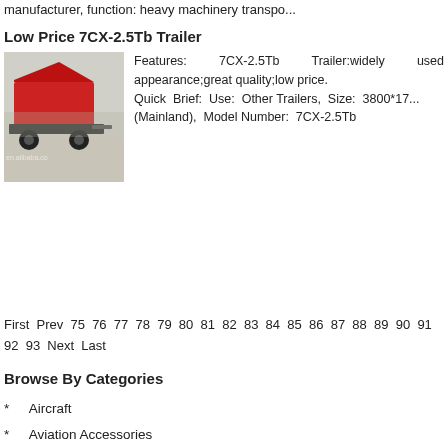manufacturer, function: heavy machinery transpo...
Low Price 7CX-2.5Tb Trailer
[Figure (photo): Red 7CX-2.5Tb trailer with tipper body raised, parked on snow/ground outdoors. Watermark: en.alibaba.co]
Features: 7CX-2.5Tb Trailer:widely used appearance;great quality;low price. Quick Brief: Use: Other Trailers, Size: 3800*17... (Mainland), Model Number: 7CX-2.5Tb
First Prev 75 76 77 78 79 80 81 82 83 84 85 86 87 88 89 90 91 92 93 Next Last
Browse By Categories
Aircraft
Aviation Accessories
Aviation Parts
Bicycle